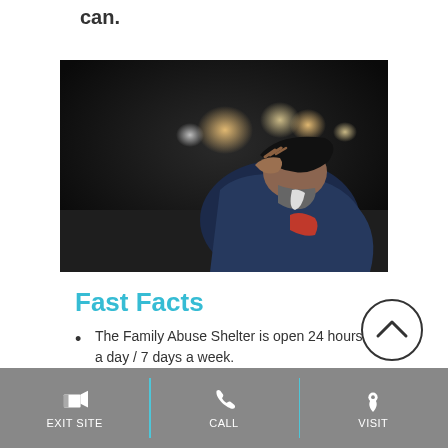can.
[Figure (photo): A bearded man in a dark hoodie and blue jacket sits outside at night, with his hand raised to his forehead in a distressed or shielding pose. Blurred city lights are visible in the background.]
Fast Facts
The Family Abuse Shelter is open 24 hours a day / 7 days a week.
EXIT SITE | Call | Visit